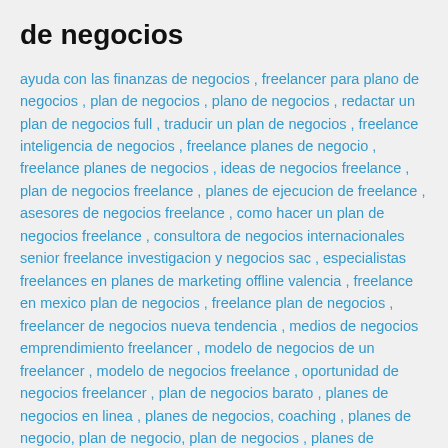de negocios
ayuda con las finanzas de negocios , freelancer para plano de negocios , plan de negocios , plano de negocios , redactar un plan de negocios full , traducir un plan de negocios , freelance inteligencia de negocios , freelance planes de negocio , freelance planes de negocios , ideas de negocios freelance , plan de negocios freelance , planes de ejecucion de freelance , asesores de negocios freelance , como hacer un plan de negocios freelance , consultora de negocios internacionales senior freelance investigacion y negocios sac , especialistas freelances en planes de marketing offline valencia , freelance en mexico plan de negocios , freelance plan de negocios , freelancer de negocios nueva tendencia , medios de negocios emprendimiento freelancer , modelo de negocios de un freelancer , modelo de negocios freelance , oportunidad de negocios freelancer , plan de negocios barato , planes de negocios en linea , planes de negocios, coaching , planes de negocio, plan de negocio, plan de negocios , planes de negocios, negocio , planes de negocios, negocio, business , planes de negocios hechos